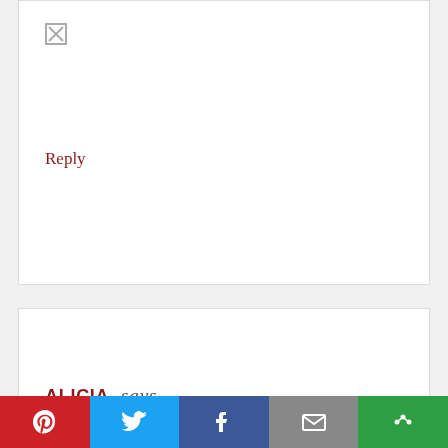[Figure (other): Broken image icon placeholder (small square with X)]
Reply
ALICIA says
APRIL 4, 2018 AT 3:48 PM
Always love to think of what will help my kids brains while they are having fun!
Reply
[Figure (infographic): Social share bar with Pinterest (red), Twitter (blue), Facebook (dark blue), Email (grey), More (green) buttons]